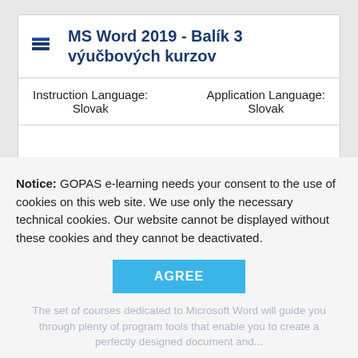MS Word 2019 - Balík 3 výučbových kurzov
Instruction Language: Slovak    Application Language: Slovak
[Figure (other): A loading progress bar graphic — a dark red/maroon narrow elongated arrow or bar shape, indicating content is loading.]
Notice: GOPAS e-learning needs your consent to the use of cookies on this web site. We use only the necessary technical cookies. Our website cannot be displayed without these cookies and they cannot be deactivated.
AGREE
The set of courses dedicated to Microsoft Word will guide you through plenty of program tools that enable you to create a perfectly designed document and...